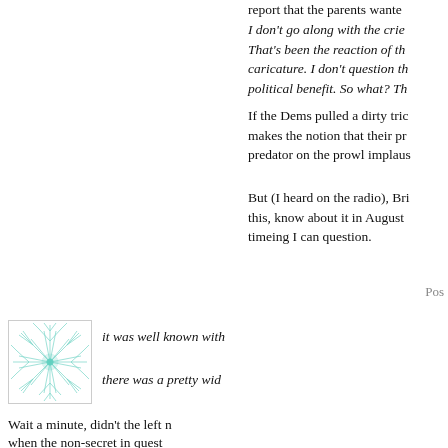report that the parents wante
I don't go along with the cries That's been the reaction of th caricature. I don't question th political benefit. So what? Th
If the Dems pulled a dirty tric makes the notion that their pr predator on the prowl implaus
But (I heard on the radio), Bri this, know about it in August timeing I can question.
Pos
[Figure (illustration): Square avatar image with teal/mint colored abstract branch or neural network pattern on white background]
it was well known with
there was a pretty wid
Wait a minute, didn't the left n when the non-secret in quest employer? Or is it only applic not serial liars named Joe?